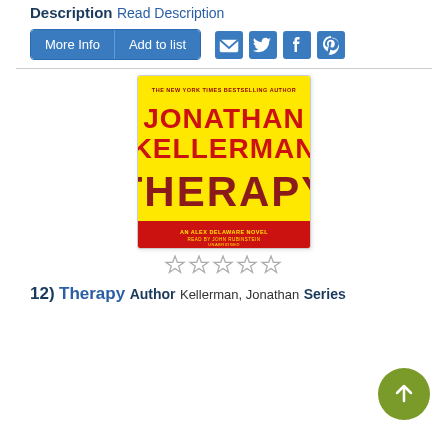Description
Read Description
[Figure (screenshot): Buttons: More Info | Add to list, and social sharing icons (email, twitter, facebook, pinterest)]
[Figure (photo): Book cover: Jonathan Kellerman Therapy - An Alex Delaware Novel audiobook, yellow cover with red text]
[Figure (other): Five empty star rating icons]
12)  Therapy
Author
Kellerman, Jonathan
Series